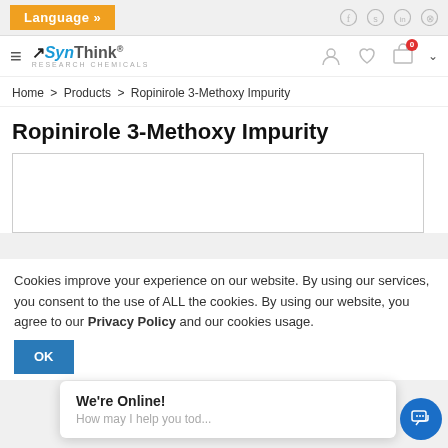Language »
[Figure (logo): SynThink Research Chemicals logo with hamburger menu icon]
Home > Products > Ropinirole 3-Methoxy Impurity
Ropinirole 3-Methoxy Impurity
[Figure (photo): Product image placeholder box]
Cookies improve your experience on our website. By using our services, you consent to the use of ALL the cookies. By using our website, you agree to our Privacy Policy and our cookies usage.
OK
We're Online!
How may I help you tod...